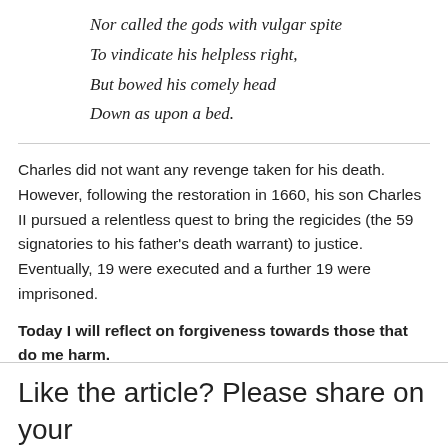Nor called the gods with vulgar spite
To vindicate his helpless right,
But bowed his comely head
Down as upon a bed.
Charles did not want any revenge taken for his death. However, following the restoration in 1660, his son Charles II pursued a relentless quest to bring the regicides (the 59 signatories to his father's death warrant) to justice. Eventually, 19 were executed and a further 19 were imprisoned.
Today I will reflect on forgiveness towards those that do me harm.
Like the article? Please share on your